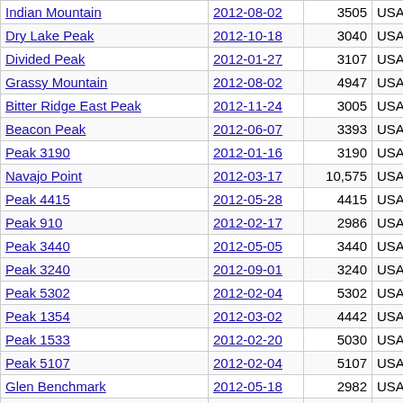| Peak Name | Date | Elevation | Region | Prominence |
| --- | --- | --- | --- | --- |
| Indian Mountain | 2012-08-02 | 3505 | USA-ID | 605 |
| Dry Lake Peak | 2012-10-18 | 3040 | USA-NV | 600 |
| Divided Peak | 2012-01-27 | 3107 | USA-NV | 587 |
| Grassy Mountain | 2012-08-02 | 4947 | USA-ID | 587 |
| Bitter Ridge East Peak | 2012-11-24 | 3005 | USA-NV | 561 |
| Beacon Peak | 2012-06-07 | 3393 | USA-NV | 553 |
| Peak 3190 | 2012-01-16 | 3190 | USA-AZ | 550 |
| Navajo Point | 2012-03-17 | 10,575 | USA-UT | 535 |
| Peak 4415 | 2012-05-28 | 4415 | USA-NV | 535 |
| Peak 910 | 2012-02-17 | 2986 | USA-NV | 525 |
| Peak 3440 | 2012-05-05 | 3440 | USA-AZ | 520 |
| Peak 3240 | 2012-09-01 | 3240 | USA-AZ | 520 |
| Peak 5302 | 2012-02-04 | 5302 | USA-NV | 502 |
| Peak 1354 | 2012-03-02 | 4442 | USA-NV | 472 |
| Peak 1533 | 2012-02-20 | 5030 | USA-NV | 470 |
| Peak 5107 | 2012-02-04 | 5107 | USA-NV | 467 |
| Glen Benchmark | 2012-05-18 | 2982 | USA-NV | 456 |
| Possible Mesa | 2012-04-26 | 4045 | USA-NV | 445 |
| Castle Tower | 2012-05-04 | 4880 | USA-NV | 440 |
| The Tri-Lambs - Gilbert | 2012-01-27 | 4313 | USA-NV | 433 |
| Soloa Peak | 2012-08-02 | 3429 | USA-ID | 429 |
| Peak 4346 | 2012-03-10 | 4346 | USA-NV | 426 |